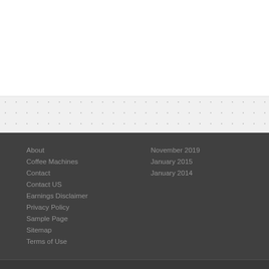About
Coffee Machines
Contact
Contact US
Earnings Disclaimer
Privacy Policy
Sample Page
Sitemap
Terms of Use
November 2019
January 2015
January 2014
© Copyright 2022, Coffee Machine Heaven

The owner of this website is a participant in the Amazon Services LLC Associates Progra… and linking to amazon.com. Kindle, Kindle Fire and Amazon are trademarks of Amazon.c…